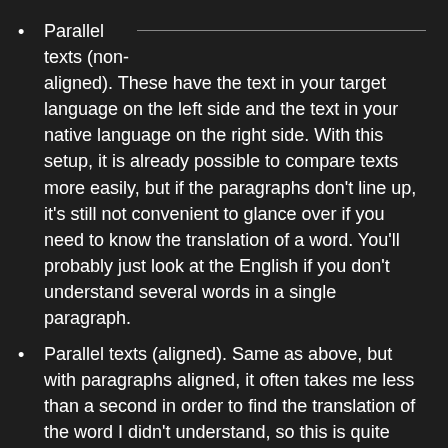Parallel texts (non-aligned). These have the text in your target language on the left side and the text in your native language on the right side. With this setup, it is already possible to compare texts more easily, but if the paragraphs don't line up, it's still not convenient to glance over if you need to know the translation of a word. You'll probably just look at the English if you don't understand several words in a single paragraph.
Parallel texts (aligned). Same as above, but with paragraphs aligned, it often takes me less than a second in order to find the translation of the word I didn't understand, so this is quite convenient to use. Various indie publishing houses offer parallel books and I have sometimes even created such parallel books myself (electronic versions only), either by hand or by using the handy software Hunalign. My friend Pete explains how to